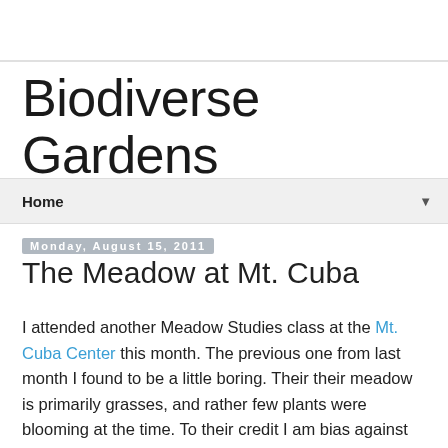Biodiverse Gardens
Home
Monday, August 15, 2011
The Meadow at Mt. Cuba
I attended another Meadow Studies class at the Mt. Cuba Center this month. The previous one from last month I found to be a little boring. Their their meadow is primarily grasses, and rather few plants were blooming at the time. To their credit I am bias against grasses, and generally anything wind pollinated. Lush grassy meadows have their place, but during the month of July they look like a lawn in desperate need of mowing. As the year progresses though species like Big Bluestem, Andropogon gerardii, and Yellow Indian